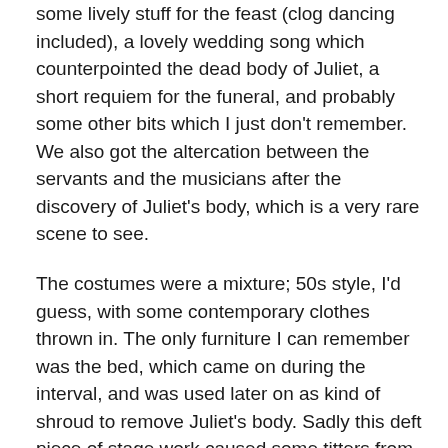some lively stuff for the feast (clog dancing included), a lovely wedding song which counterpointed the dead body of Juliet, a short requiem for the funeral, and probably some other bits which I just don't remember. We also got the altercation between the servants and the musicians after the discovery of Juliet's body, which is a very rare scene to see.
The costumes were a mixture; 50s style, I'd guess, with some contemporary clothes thrown in. The only furniture I can remember was the bed, which came on during the interval, and was used later on as kind of shroud to remove Juliet's body. Sadly this deft piece of stage work caused some titters from the less mature audience members. For the funeral, a pallet was brought on to sit in the hole left by the bed, and Juliet and Tybalt walked on,